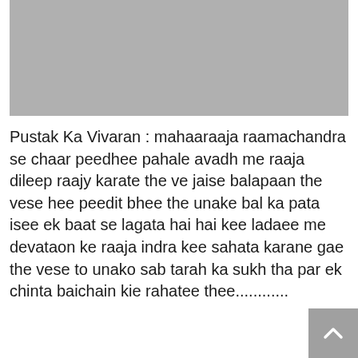[Figure (other): Gray rectangular image placeholder at the top of the page]
Pustak Ka Vivaran : mahaaraaja raamachandra se chaar peedhee pahale avadh me raaja dileep raajy karate the ve jaise balapaan the vese hee peedit bhee the unake bal ka pata isee ek baat se lagata hai hai kee ladaee me devataon ke raaja indra kee sahata karane gae the vese to unako sab tarah ka sukh tha par ek chinta baichain kie rahatee thee............